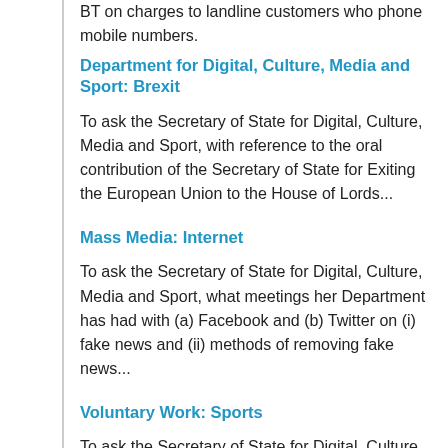BT on charges to landline customers who phone mobile numbers.
Department for Digital, Culture, Media and Sport: Brexit
To ask the Secretary of State for Digital, Culture, Media and Sport, with reference to the oral contribution of the Secretary of State for Exiting the European Union to the House of Lords...
Mass Media: Internet
To ask the Secretary of State for Digital, Culture, Media and Sport, what meetings her Department has had with (a) Facebook and (b) Twitter on (i) fake news and (ii) methods of removing fake news...
Voluntary Work: Sports
To ask the Secretary of State for Digital, Culture, Media and Sport, what her Department's policy is on